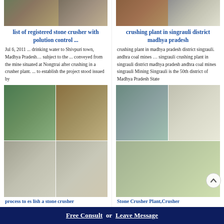[Figure (photo): Two side-by-side photos of a mining/stone crushing site with equipment and stockpiles]
list of registered stone crusher with polution control ...
Jul 6, 2011 ... drinking water to Shivpuri town, Madhya Pradesh… subject to the ... conveyed from the mine situated at Nongtrai after crushing in a crusher plant. ... to establish the project stood issued by
[Figure (photo): Stone crusher machinery with conveyor belt, top-left]
[Figure (photo): Stone crusher with sand piles, top-right]
[Figure (photo): Stone crusher plant exterior, bottom-left]
[Figure (schematic): Diagram of stone crusher plant process flow]
process to es lish a stone crusher
[Figure (photo): Two side-by-side photos of crushing plant in singrauli with red crane and gravel piles]
crushing plant in singrauli district madhya pradesh
crushing plant in madhya pradesh district singrauli. andhra coal mines … singrauli crushing plant in singrauli district madhya pradesh andhra coal mines singrauli Mining Singrauli is the 50th district of Madhya Pradesh State
[Figure (photo): Stone crusher plant top-left view with machinery]
[Figure (photo): Gravel/aggregate stockpile top-right]
[Figure (photo): Stone crusher plant wide view with forest backdrop]
Stone Crusher Plant,Crusher
Free Consult  or  Leave Message